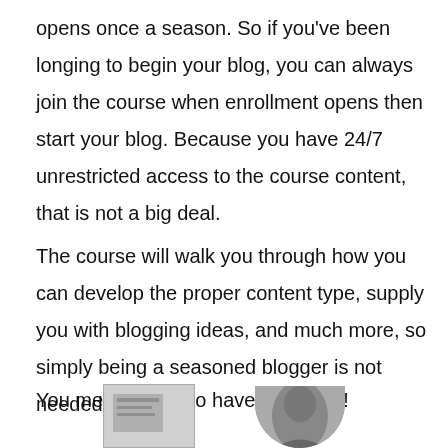opens once a season. So if you've been longing to begin your blog, you can always join the course when enrollment opens then start your blog. Because you have 24/7 unrestricted access to the course content, that is not a big deal.
The course will walk you through how you can develop the proper content type, supply you with blogging ideas, and much more, so simply being a seasoned blogger is not needed.
You merely have to have your blog!
[Figure (photo): Two partially visible images at the bottom of the page: one appears to be a document or screen, the other appears to be a person's head/portrait, both cropped]